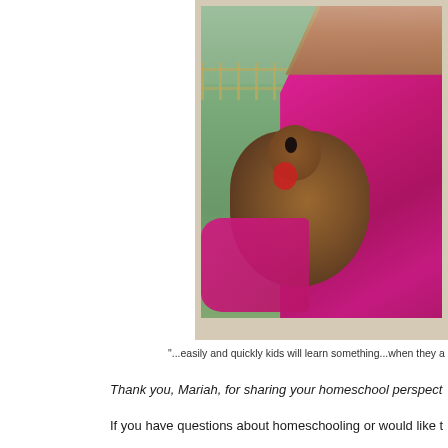[Figure (photo): A child in a pink hoodie holding a brown chicken/hen, with a green grassy field and wooden fence in the background. Another white chicken visible in the background. Photo has a vintage polaroid-style border.]
"...easily and quickly kids will learn something...when they a
Thank you, Mariah, for sharing your homeschool perspect
If you have questions about homeschooling or would like t